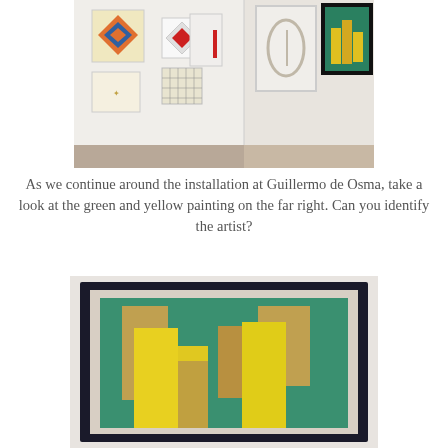[Figure (photo): Gallery installation view at Guillermo de Osma showing multiple framed artworks on white walls. Artworks include geometric and abstract pieces; on far right is a green and yellow painting.]
As we continue around the installation at Guillermo de Osma, take a look at the green and yellow painting on the far right. Can you identify the artist?
[Figure (photo): Close-up photograph of a framed abstract painting with a dark frame. The painting features a teal/green background with yellow and tan/gold geometric block shapes arranged like an abstract cityscape.]